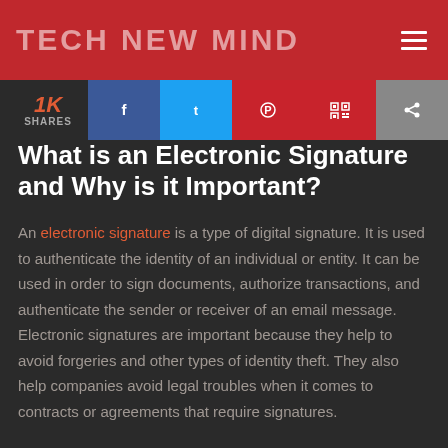TECH NEW MIND
1K SHARES
What is an Electronic Signature and Why is it Important?
An electronic signature is a type of digital signature. It is used to authenticate the identity of an individual or entity. It can be used in order to sign documents, authorize transactions, and authenticate the sender or receiver of an email message. Electronic signatures are important because they help to avoid forgeries and other types of identity theft. They also help companies avoid legal troubles when it comes to contracts or agreements that require signatures.